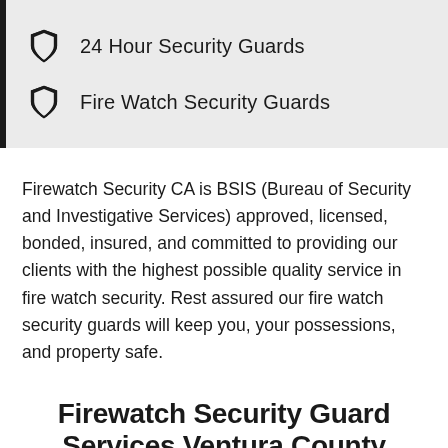24 Hour Security Guards
Fire Watch Security Guards
Firewatch Security CA is BSIS (Bureau of Security and Investigative Services) approved, licensed, bonded, insured, and committed to providing our clients with the highest possible quality service in fire watch security. Rest assured our fire watch security guards will keep you, your possessions, and property safe.
Firewatch Security Guard Services Ventura County